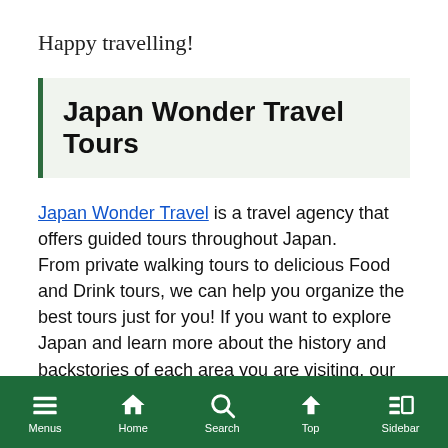Happy travelling!
Japan Wonder Travel Tours
Japan Wonder Travel is a travel agency that offers guided tours throughout Japan. From private walking tours to delicious Food and Drink tours, we can help you organize the best tours just for you! If you want to explore Japan and learn more about the history and backstories of each area you are visiting, our knowledgeable and friendly English speaking guides will happily take you to the best spots!
Menus  Home  Search  Top  Sidebar